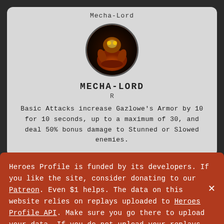Mecha-Lord
[Figure (illustration): Circular avatar image of Mecha-Lord character, dark background with orange and brown mechanical creature]
MECHA-LORD
R
Basic Attacks increase Gazlowe's Armor by 10 for 10 seconds, up to a maximum of 30, and deal 50% bonus damage to Stunned or Slowed enemies.
Heroes Profile is funded by its developers. If you like the site, consider donating to our Patreon. Even $1 helps. The data on this website relies on replays uploaded to Heroes Profile API. Make sure you go there to upload your data. If you do not upload your replays, your data will not be accurate.
This site uses cookies in order to store